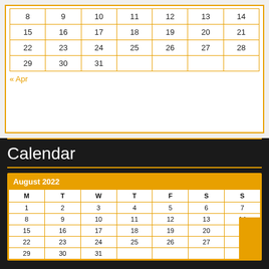| 8 | 9 | 10 | 11 | 12 | 13 | 14 |
| 15 | 16 | 17 | 18 | 19 | 20 | 21 |
| 22 | 23 | 24 | 25 | 26 | 27 | 28 |
| 29 | 30 | 31 |  |  |  |  |
« Apr
Calendar
| M | T | W | T | F | S | S |
| --- | --- | --- | --- | --- | --- | --- |
| 1 | 2 | 3 | 4 | 5 | 6 | 7 |
| 8 | 9 | 10 | 11 | 12 | 13 | 14 |
| 15 | 16 | 17 | 18 | 19 | 20 | 21 |
| 22 | 23 | 24 | 25 | 26 | 27 | 28 |
| 29 | 30 | 31 |  |  |  |  |